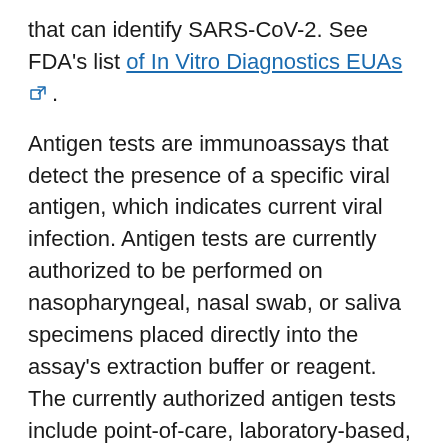that can identify SARS-CoV-2. See FDA's list of In Vitro Diagnostics EUAs [external link] .
Antigen tests are immunoassays that detect the presence of a specific viral antigen, which indicates current viral infection. Antigen tests are currently authorized to be performed on nasopharyngeal, nasal swab, or saliva specimens placed directly into the assay's extraction buffer or reagent. The currently authorized antigen tests include point-of-care, laboratory-based, and self-tests. Certain tests have age limitations; refer to FDA's website [external link] for more details. See Table 1 for additional information about antigen tests.
Antigen tests produce results quickly (within approximately 15–30 minutes), and most can be used at the point-of-care. Antigen tests for SARS-CoV-2 are